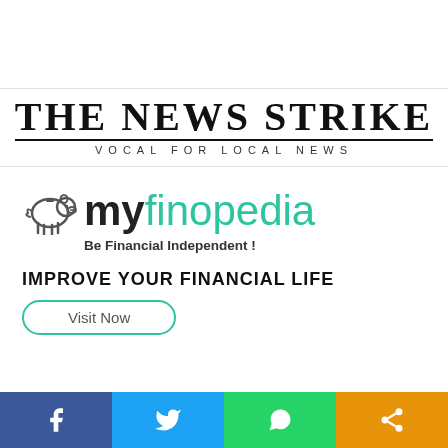[Figure (logo): The News Strike logo - black stamp-style gothic text reading 'THE NEWS STRIKE' with tagline 'VOCAL FOR LOCAL NEWS']
[Figure (logo): myfinopedia logo with pig icon, text 'myfinopedia' in black/teal, tagline 'Be Financial Independent!']
IMPROVE YOUR FINANCIAL LIFE
Visit Now